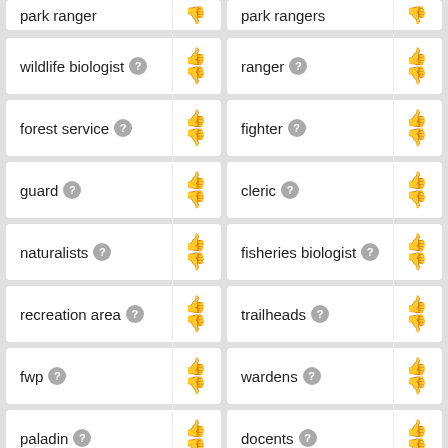park ranger (partial top left)
park rangers (partial top right)
wildlife biologist
ranger
forest service
fighter
guard
cleric
naturalists
fisheries biologist
recreation area
trailheads
fwp
wardens
paladin
docents